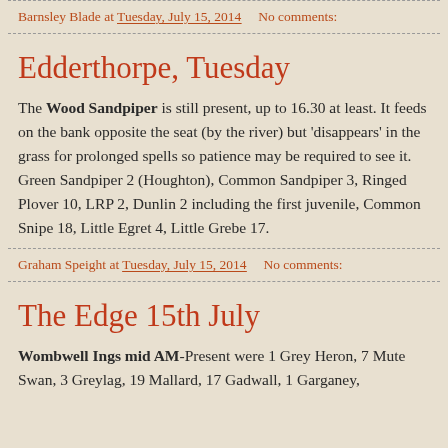Barnsley Blade at Tuesday, July 15, 2014    No comments:
Edderthorpe, Tuesday
The Wood Sandpiper is still present, up to 16.30 at least. It feeds on the bank opposite the seat (by the river) but 'disappears' in the grass for prolonged spells so patience may be required to see it. Green Sandpiper 2 (Houghton), Common Sandpiper 3, Ringed Plover 10, LRP 2, Dunlin 2 including the first juvenile, Common Snipe 18, Little Egret 4, Little Grebe 17.
Graham Speight at Tuesday, July 15, 2014    No comments:
The Edge 15th July
Wombwell Ings mid AM-Present were 1 Grey Heron, 7 Mute Swan, 3 Greylag, 19 Mallard, 17 Gadwall, 1 Garganey,